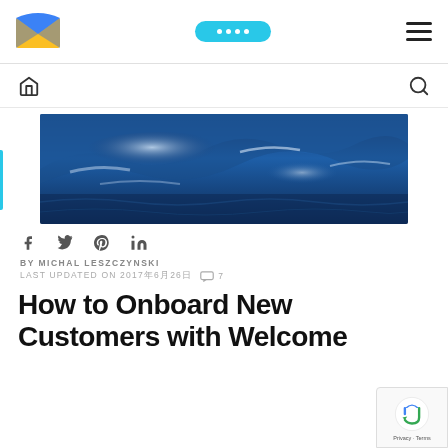Sendinblue logo, navigation button, hamburger menu
[Figure (logo): Sendinblue envelope logo — blue and yellow envelope icon]
[Figure (screenshot): Cyan pill-shaped button with white dots (navigation button)]
[Figure (screenshot): Hamburger menu icon (three horizontal lines)]
[Figure (screenshot): Home icon and search/magnifier icon in secondary navigation bar]
[Figure (photo): Wide-format photograph of deep blue ocean waves, white foam crests]
f  y  p  in (social share icons: Facebook, Twitter, Pinterest, LinkedIn)
BY MICHAL LESZCZYNSKI
LAST UPDATED ON 2017年6月26日  💬 7
How to Onboard New Customers with Welcome